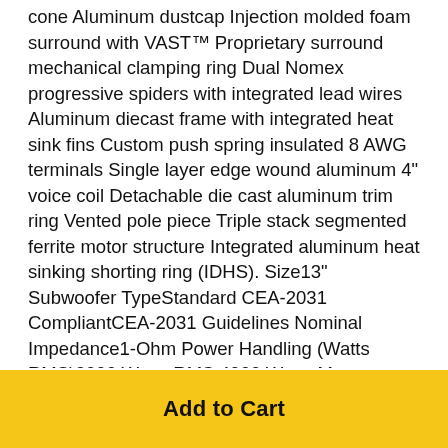cone Aluminum dustcap Injection molded foam surround with VAST™ Proprietary surround mechanical clamping ring Dual Nomex progressive spiders with integrated lead wires Aluminum diecast frame with integrated heat sink fins Custom push spring insulated 8 AWG terminals Single layer edge wound aluminum 4" voice coil Detachable die cast aluminum trim ring Vented pole piece Triple stack segmented ferrite motor structure Integrated aluminum heat sinking shorting ring (IDHS). Size13" Subwoofer TypeStandard CEA-2031 CompliantCEA-2031 Guidelines Nominal Impedance1-Ohm Power Handling (Watts RMS)2000 Watts RMS 4000 Watts Max Speaker Connector8 AWG slot loaded Voice Coil TypeSingle Voice Coil Voice Coil Diameter3.96" (100 mm) Fs (Hz)25 Magnet Weight (oz)528 oz. (14.97 Kg) Re (Ohms)0.9 Vas (Liters)69.3
Add to Cart